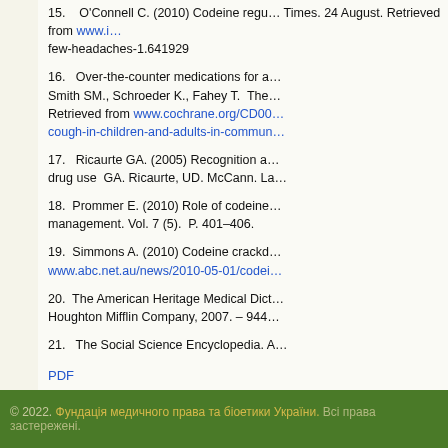15.   O'Connell C. (2010) Codeine regu... Times. 24 August. Retrieved from www.i... few-headaches-1.641929
16.   Over-the-counter medications for a... Smith SM., Schroeder K., Fahey T. The... Retrieved from www.cochrane.org/CD00... cough-in-children-and-adults-in-commun...
17.   Ricaurte GA. (2005) Recognition a... drug use  GA. Ricaurte, UD. McCann. La...
18.  Prommer E. (2010) Role of codeine... management. Vol. 7 (5).  P. 401–406.
19.  Simmons A. (2010) Codeine crackd... www.abc.net.au/news/2010-05-01/codei...
20.  The American Heritage Medical Dict... Houghton Mifflin Company, 2007. – 944...
21.   The Social Science Encyclopedia. A...
PDF
© 2022. Фундація медичного права та біоетики України. Всі права застережені.